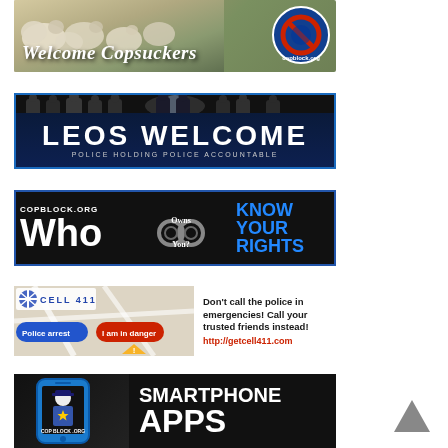[Figure (illustration): CopBlock.org banner with sheep in background and text 'Welcome Copsuckers' with copblock.org logo]
[Figure (illustration): CopBlock banner with police silhouettes, text 'LEOS WELCOME' and 'POLICE HOLDING POLICE ACCOUNTABLE']
[Figure (illustration): CopBlock.org banner with text 'Who Owns You?' on black background with handcuffs graphic and 'KNOW YOUR RIGHTS' in blue]
[Figure (illustration): Cell 411 app banner with map graphic, logo, and text "Don't call the police in emergencies! Call your trusted friends instead! http://getcell411.com"]
[Figure (illustration): CopBlock.org smartphone apps banner with cop illustration on phone and text 'SMARTPHONE APPS']